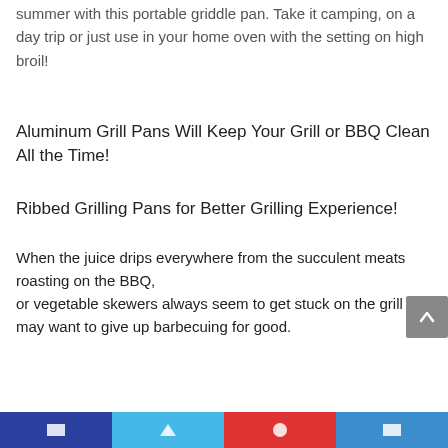summer with this portable griddle pan. Take it camping, on a day trip or just use in your home oven with the setting on high broil!
Aluminum Grill Pans Will Keep Your Grill or BBQ Clean All the Time!
Ribbed Grilling Pans for Better Grilling Experience!
When the juice drips everywhere from the succulent meats roasting on the BBQ, or vegetable skewers always seem to get stuck on the grill you may want to give up barbecuing for good.